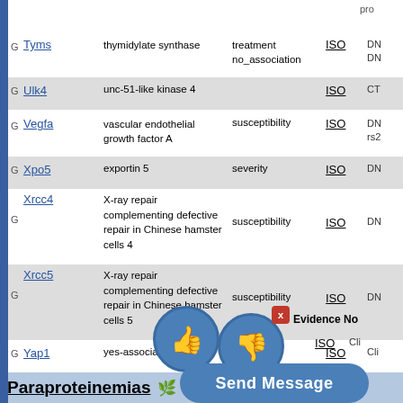|  | Symbol | Object Name | Qualifiers | Evidence | Notes |
| --- | --- | --- | --- | --- | --- |
| G | Tyms | thymidylate synthase | treatment no_association | ISO | DN DN |
| G | Ulk4 | unc-51-like kinase 4 |  | ISO | CT |
| G | Vegfa | vascular endothelial growth factor A | susceptibility | ISO | DN rs2 |
| G | Xpo5 | exportin 5 | severity | ISO | DN |
| G | Xrcc4 | X-ray repair complementing defective repair in Chinese hamster cells 4 | susceptibility | ISO | DN |
| G | Xrcc5 | X-ray repair complementing defective repair in Chinese hamster cells 5 | susceptibility | ISO | DN |
| G | Yap1 | yes-associated protein 1 |  | ISO | Cli |
Paraproteinemias
|  | Symbol | Object Name | Qualifiers | Evidence | Notes |
| --- | --- | --- | --- | --- | --- |
| G | B2m | beta-2 microglobulin |  | ISO | Cli |
| G | Braf | Braf transforming gene |  | ISO | Cli |
[Figure (screenshot): UI overlay with thumbs up and thumbs down buttons and a Send Message button]